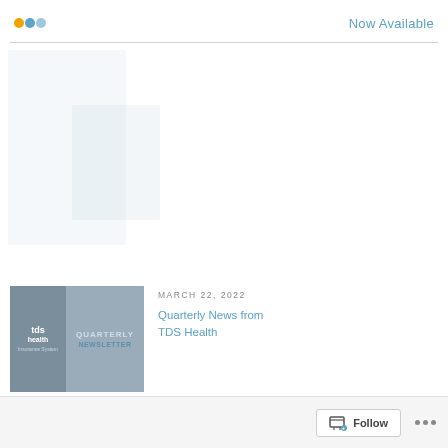Now Available
[Figure (screenshot): Faint light-blue watermark/background image area in the upper left of main content]
[Figure (screenshot): TDS Health Quarterly Newsletter thumbnail image with grey background, showing tds health logo on left and QUARTERLY NEWSLETTER text on right]
MARCH 22, 2022
Quarterly News from TDS Health
Follow ...